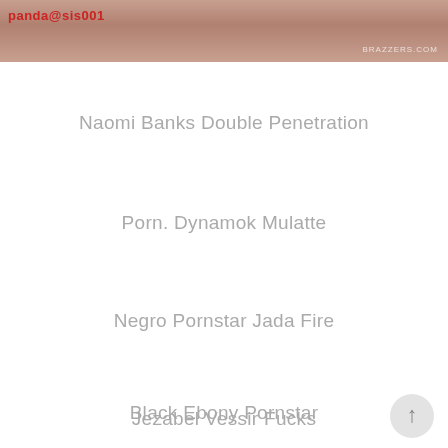[Figure (photo): Header image cropped photo with watermark text panda@sis001 and brazzers.com]
Naomi Banks Double Penetration
Porn. Dynamok Mulatte
Negro Pornstar Jada Fire
Black Ebony Pornstar
Jezabel Vessir Fucks